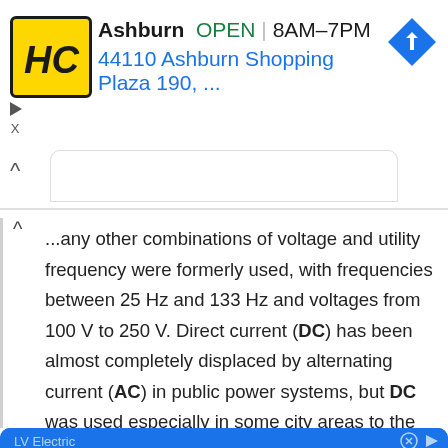[Figure (screenshot): HC (Home Depot or similar hardware brand) logo — yellow square with black border and HC letters in black]
Ashburn  OPEN | 8AM–7PM
44110 Ashburn Shopping Plaza 190, ...
...any other combinations of voltage and utility frequency were formerly used, with frequencies between 25 Hz and 133 Hz and voltages from 100 V to 250 V. Direct current (DC) has been almost completely displaced by alternating current (AC) in public power systems, but DC was used especially in some city areas to the end
LV Electric
LV Electric
Our Mission Is to Provide You with Outstanding Service